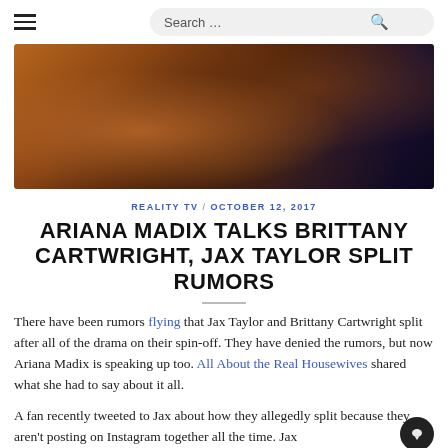☰  Search …  🔍
[Figure (photo): Close-up photo of a person with long hair, dark background, warm brown and auburn tones.]
REALITY TV / OCTOBER 12, 2017
ARIANA MADIX TALKS BRITTANY CARTWRIGHT, JAX TAYLOR SPLIT RUMORS
There have been rumors flying that Jax Taylor and Brittany Cartwright split after all of the drama on their spin-off. They have denied the rumors, but now Ariana Madix is speaking up too. All About the Real Housewives shared what she had to say about it all.
A fan recently tweeted to Jax about how they allegedly split because they aren't posting on Instagram together all the time. Jax